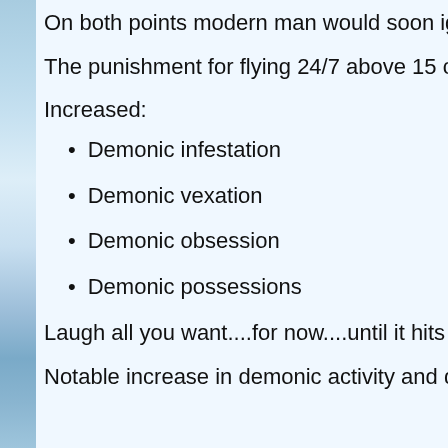On both points modern man would soon igno…
The punishment for flying 24/7 above 15 cub…
Increased:
Demonic infestation
Demonic vexation
Demonic obsession
Demonic possessions
Laugh all you want....for now....until it hits clo…
Notable increase in demonic activity and dem…